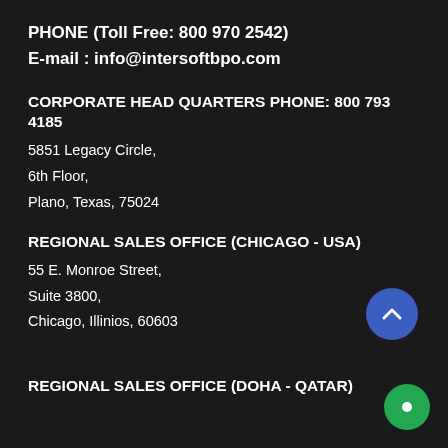PHONE (Toll Free: 800 970 2542)
E-mail : info@intersoftbpo.com
CORPORATE HEAD QUARTERS PHONE: 800 793 4185
5851 Legacy Circle,
6th Floor,
Plano, Texas, 75024
REGIONAL SALES OFFICE (CHICAGO - USA)
55 E. Monroe Street,
Suite 3800,
Chicago, Illinios, 60603
REGIONAL SALES OFFICE (DOHA - QATAR)